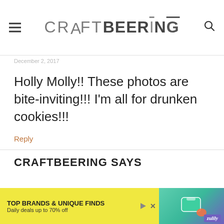CRAFTBEERING
December 2, 2017
Holly Molly!! These photos are bite-inviting!!! I'm all for drunken cookies!!!
Reply
CRAFTBEERING SAYS
[Figure (other): Advertisement banner: TOP BRANDS & UNIQUE FINDS. Daily deals up to 70% off. Zulily branding with teal bag and sneaker imagery on yellow background.]